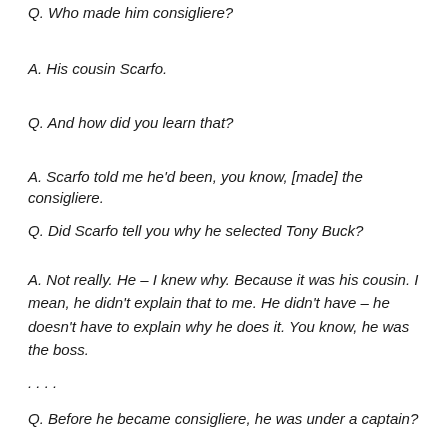Q. Who made him consigliere?
A. His cousin Scarfo.
Q. And how did you learn that?
A. Scarfo told me he'd been, you know, [made] the consigliere.
Q. Did Scarfo tell you why he selected Tony Buck?
A. Not really. He — I knew why. Because it was his cousin. I mean, he didn't explain that to me. He didn't have — he doesn't have to explain why he does it. You know, he was the boss.
….
Q. Before he became consigliere, he was under a captain?